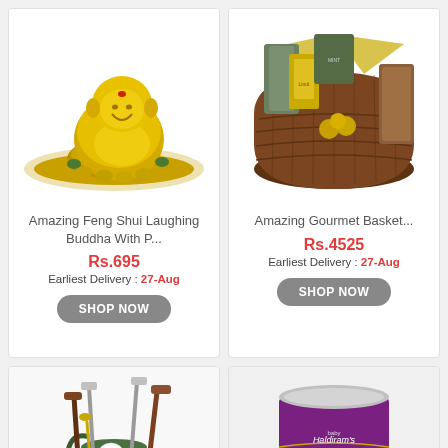[Figure (photo): Golden Feng Shui Laughing Buddha figurine with a bag of money]
Amazing Feng Shui Laughing Buddha With P...
Rs.695
Earliest Delivery : 27-Aug
SHOP NOW
[Figure (photo): Gourmet gift basket with Lindt chocolates and assorted goodies in a wicker basket]
Amazing Gourmet Basket...
Rs.4525
Earliest Delivery : 27-Aug
SHOP NOW
[Figure (photo): Golf-themed bar tool set in a mini golf bag holder]
[Figure (photo): Haldiram's Gulab Jamun can with gulab jamuns visible in front]